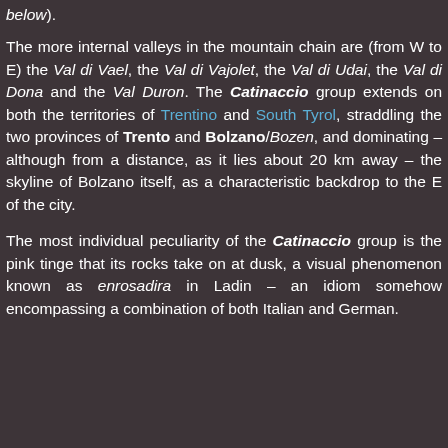below).
The more internal valleys in the mountain chain are (from W to E) the Val di Vael, the Val di Vajolet, the Val di Udai, the Val di Dona and the Val Duron. The Catinaccio group extends on both the territories of Trentino and South Tyrol, straddling the two provinces of Trento and Bolzano/Bozen, and dominating – although from a distance, as it lies about 20 km away – the skyline of Bolzano itself, as a characteristic backdrop to the E of the city.
The most individual peculiarity of the Catinaccio group is the pink tinge that its rocks take on at dusk, a visual phenomenon known as enrosadira in Ladin – an idiom somehow encompassing a combination of both Italian and German.